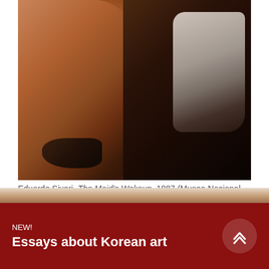[Figure (photo): Detail of a painting showing a figure's bare legs and feet from the knee down, with shoes on the floor and white fabric/clothing visible on the right side, set against a dark background. Oil painting style.]
Eduardo Sivori, The Maid's Wakeup, 1887 (Museo Nacional de Bellas Artes, Argentina)
NEW!
Essays about Korean art